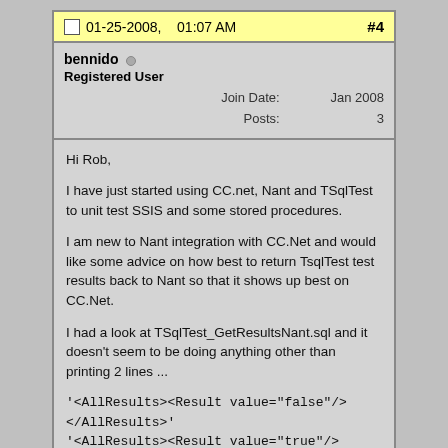01-25-2008,   01:07 AM  #4
bennido  Registered User
Join Date: Jan 2008
Posts: 3
Hi Rob,

I have just started using CC.net, Nant and TSqlTest to unit test SSIS and some stored procedures.

I am new to Nant integration with CC.Net and would like some advice on how best to return TsqlTest test results back to Nant so that it shows up best on CC.Net.

I had a look at TSqlTest_GetResultsNant.sql and it doesn't seem to be doing anything other than printing 2 lines ...

'<AllResults><Result value="false"/></AllResults>'
'<AllResults><Result value="true"/></AllResults>'

... and the script says not to add any more PRINT statement which confuses me.